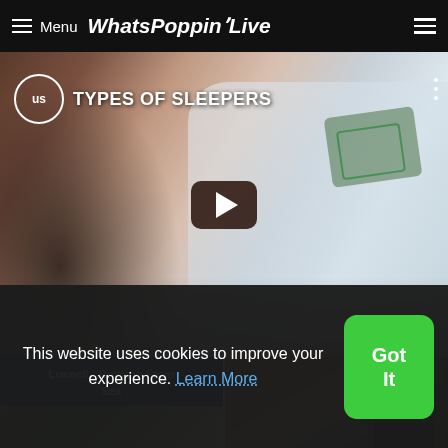Menu WhatsPoppinLive
[Figure (screenshot): YouTube-style video thumbnail showing two people sleeping in bed, with title 'TYPES OF SLEEPERS', a circular US channel logo, a play button in center, and three-dot menu icon]
Luenell - Retiring From Sex
[Figure (screenshot): Thumbnail of a person in a dark suit appearing to react with surprise, in front of wooden paneling background]
This website uses cookies to improve your experience. Learn More
Got It